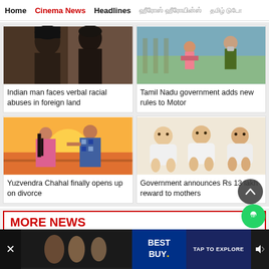Home | Cinema News | Headlines | [Tamil text] | [Tamil text]
[Figure (photo): Two people from behind, close together, dark hair]
Indian man faces verbal racial abuses in foreign land
[Figure (photo): People outdoors, woman with mask, official figure]
Tamil Nadu government adds new rules to Motor
[Figure (photo): Couple at sunset, woman in pink dress, man in patterned shirt]
Yuzvendra Chahal finally opens up on divorce
[Figure (photo): Three babies in white onesies sitting in a row]
Government announces Rs 13 lakh reward to mothers
MORE NEWS
[Figure (photo): Advertisement banner - Best Buy TAP TO EXPLORE]